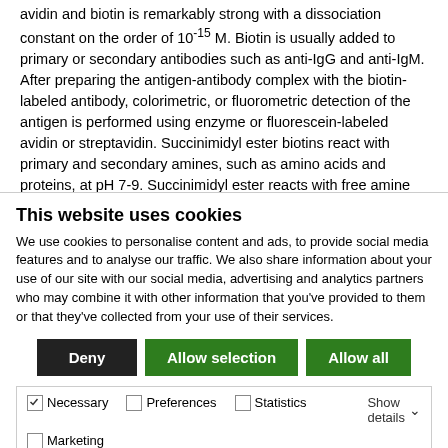avidin and biotin is remarkably strong with a dissociation constant on the order of 10-15 M. Biotin is usually added to primary or secondary antibodies such as anti-IgG and anti-IgM. After preparing the antigen-antibody complex with the biotin-labeled antibody, colorimetric, or fluorometric detection of the antigen is performed using enzyme or fluorescein-labeled avidin or streptavidin. Succinimidyl ester biotins react with primary and secondary amines, such as amino acids and proteins, at pH 7-9. Succinimidyl ester reacts with free amine groups to create a stable amide bond. Succinimidyl biotin reagents must be dissolved in DMSO, DMF, or alcohol. Stock solutions prepared with DMSO are stable for several months
This website uses cookies
We use cookies to personalise content and ads, to provide social media features and to analyse our traffic. We also share information about your use of our site with our social media, advertising and analytics partners who may combine it with other information that you've provided to them or that they've collected from your use of their services.